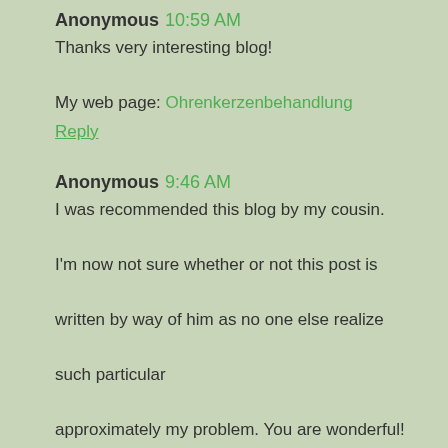Anonymous 10:59 AM
Thanks very interesting blog!

My web page: Ohrenkerzenbehandlung
Reply
Anonymous 9:46 AM
I was recommended this blog by my cousin.

I'm now not sure whether or not this post is

written by way of him as no one else realize

such particular

approximately my problem. You are wonderful! Thank you!
Review my weblog ... wiki.forrespect.org